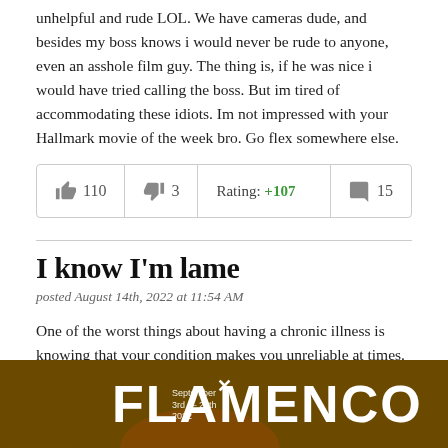unhelpful and rude LOL. We have cameras dude, and besides my boss knows i would never be rude to anyone, even an asshole film guy. The thing is, if he was nice i would have tried calling the boss. But im tired of accommodating these idiots. Im not impressed with your Hallmark movie of the week bro. Go flex somewhere else.
| 👍 110 | 👎 3 | Rating: +107 | 💬 15 |
I know I'm lame
posted August 14th, 2022 at 11:54 AM
One of the worst things about having a chronic illness is knowing that your condition makes you unreliable at times. I hate being that person who lets other people down because I've had to cancel plans. It's one of the reasons I tend to isolate myself, because I can feel their annoyance and frustration with me. I don't blame them because I'm
[Figure (screenshot): Advertisement banner for Flamenco event, September 3rd–25th 2022, dark orange/brown background with fire imagery and large white text reading FLAMENCO]